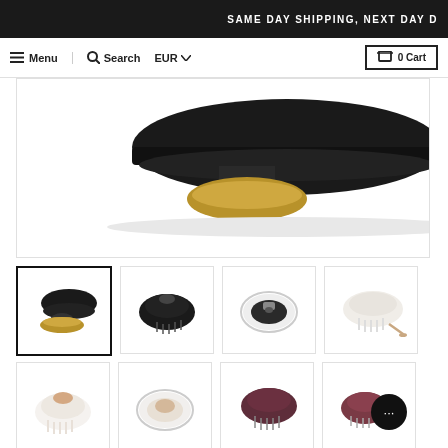SAME DAY SHIPPING, NEXT DAY D
Menu  Search  EUR  0 Cart
[Figure (photo): Close-up of a black hair detangling brush with gold base, shown from side/bottom angle on white background]
[Figure (photo): Thumbnail 1 (selected): Black hair brush with bristles and gold base on white background]
[Figure (photo): Thumbnail 2: Black hair brush with short bristles, top view]
[Figure (photo): Thumbnail 3: Hair brush inside transparent case, top view]
[Figure (photo): Thumbnail 4: White/cream hair brush with bristles, side view]
[Figure (photo): Thumbnail 5: White hair brush with rose gold base]
[Figure (photo): Thumbnail 6: Transparent oval case with brush inside]
[Figure (photo): Thumbnail 7: Dark burgundy/maroon hair brush with bristles]
[Figure (photo): Thumbnail 8: Burgundy/maroon brush with chat bubble overlay]